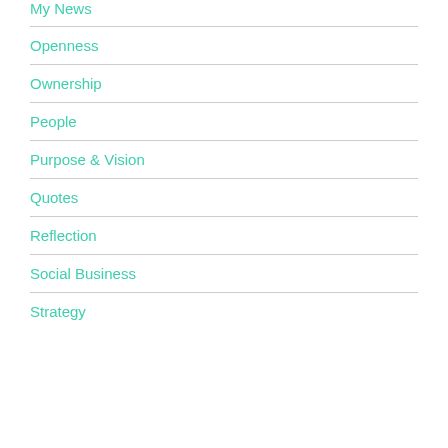My News
Openness
Ownership
People
Purpose & Vision
Quotes
Reflection
Social Business
Strategy